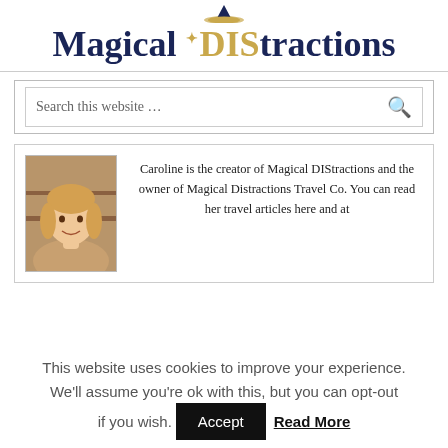Magical DIStractions
Search this website …
[Figure (photo): Portrait photo of a blonde woman (Caroline) smiling, set inside a card box with text describing her as the creator of Magical DIStractions and owner of Magical Distractions Travel Co.]
Caroline is the creator of Magical DIStractions and the owner of Magical Distractions Travel Co. You can read her travel articles here and at
This website uses cookies to improve your experience. We'll assume you're ok with this, but you can opt-out if you wish. Accept Read More